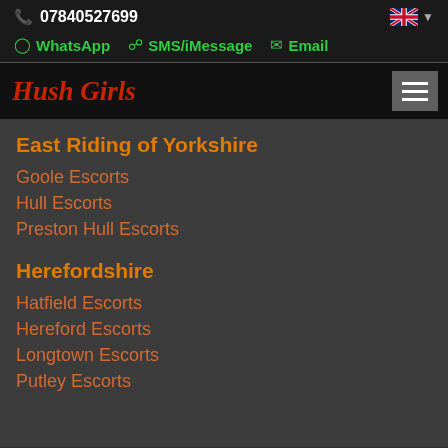07840527699
WhatsApp  SMS/iMessage  Email
Hush Girls
East Riding of Yorkshire
Goole Escorts
Hull Escorts
Preston Hull Escorts
Herefordshire
Hatfield Escorts
Hereford Escorts
Longtown Escorts
Putley Escorts